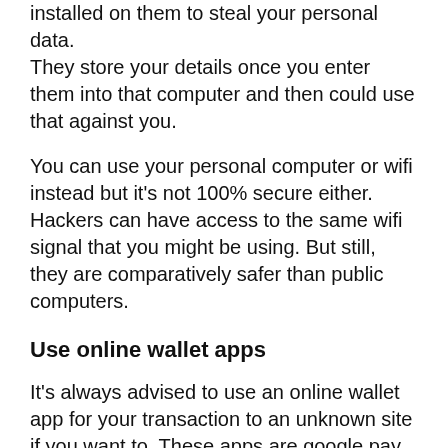installed on them to steal your personal data. They store your details once you enter them into that computer and then could use that against you.
You can use your personal computer or wifi instead but it's not 100% secure either. Hackers can have access to the same wifi signal that you might be using. But still, they are comparatively safer than public computers.
Use online wallet apps
It's always advised to use an online wallet app for your transaction to an unknown site if you want to. These apps are google pay